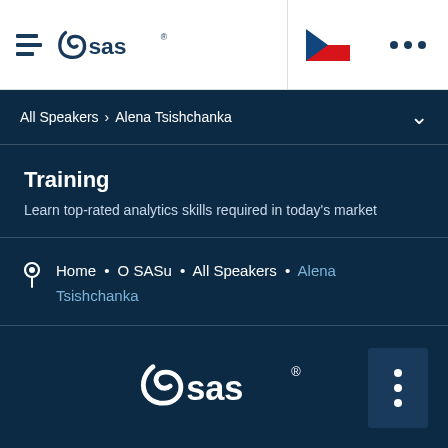[Figure (logo): SAS logo with hamburger menu icon in white top navigation bar]
[Figure (illustration): Czech Republic flag (blue triangle on left, white top right, red bottom right)]
All Speakers > Alena Tsishchanka
Training
Learn top-rated analytics skills required in today’s market
Home • O SASu • All Speakers • Alena Tsishchanka
[Figure (logo): SAS logo in white at bottom of dark navy footer]